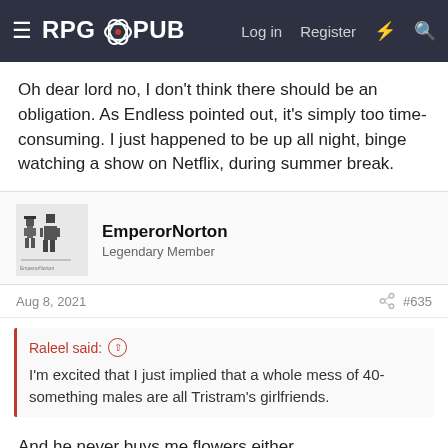RPGPub — Log in  Register
Oh dear lord no, I don't think there should be an obligation. As Endless pointed out, it's simply too time-consuming. I just happened to be up all night, binge watching a show on Netflix, during summer break.
EmperorNorton
Legendary Member
Aug 8, 2021  #635
Raleel said:
I'm excited that I just implied that a whole mess of 40-something males are all Tristram's girlfriends.
And he never buys me flowers either.